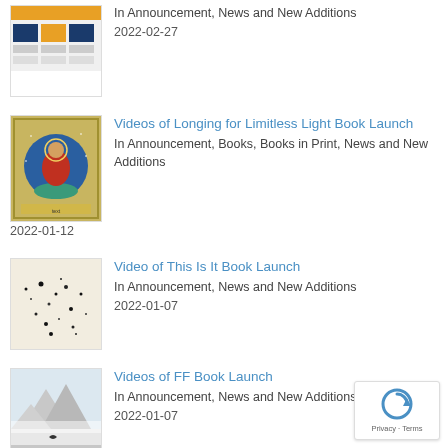[Figure (screenshot): Thumbnail image of a newsletter/announcement page with orange and blue colors]
In Announcement, News and New Additions
2022-02-27
[Figure (illustration): Thumbnail of a Tibetan thangka painting showing a Buddha figure in red and blue/green colors with yellow border]
Videos of Longing for Limitless Light Book Launch
In Announcement, Books, Books in Print, News and New Additions
2022-01-12
[Figure (photo): Thumbnail of a minimalist painting or photo with black ink dots/marks on white/cream background]
Video of This Is It Book Launch
In Announcement, News and New Additions
2022-01-07
[Figure (photo): Thumbnail of a misty mountain landscape with a bird, with text at the bottom]
Videos of FF Book Launch
In Announcement, News and New Additions
2022-01-07